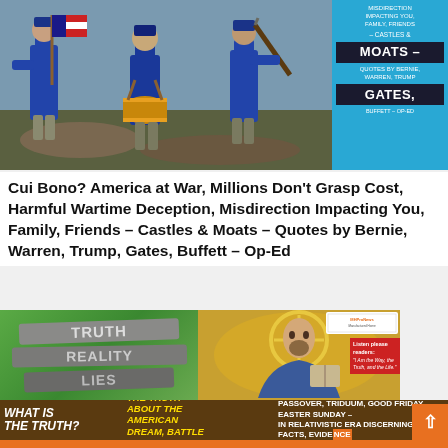[Figure (photo): Civil War toy soldier figurines in blue Union uniforms, one carrying an American flag, another with a drum, set against an outdoor background. Right side has a cyan/blue sidebar panel with text about Castles & Moats, Gates.]
Cui Bono? America at War, Millions Don't Grasp Cost, Harmful Wartime Deception, Misdirection Impacting You, Family, Friends – Castles & Moats – Quotes by Bernie, Warren, Trump, Gates, Buffett – Op-Ed
[Figure (photo): Composite image: left side shows wooden signs stacked reading TRUTH, REALITY, LIES against a green background. Center shows a Byzantine mosaic of Jesus Christ. Right side has a red box with a quote 'I Am the Way, the Truth, and the Life.' Bottom bar on brown background reads: WHAT IS THE TRUTH? / THE TRUTH ABOUT THE AMERICAN DREAM, BATTLE OF GOOD VS. EVIL, / PASSOVER, TRIDUUM, GOOD FRIDAY, EASTER SUNDAY – IN RELATIVISTIC ERA DISCERNING FACTS, EVIDENCE]